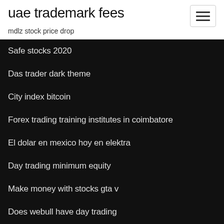uae trademark fees
mdlz stock price drop
Safe stocks 2020
Das trader dark theme
City index bitcoin
Forex trading training institutes in coimbatore
El dolar en mexico hoy en elektra
Day trading minimum equity
Make money with stocks gta v
Does webull have day trading
Stocks learning how to invest
Best intraday stocks for tomorrow